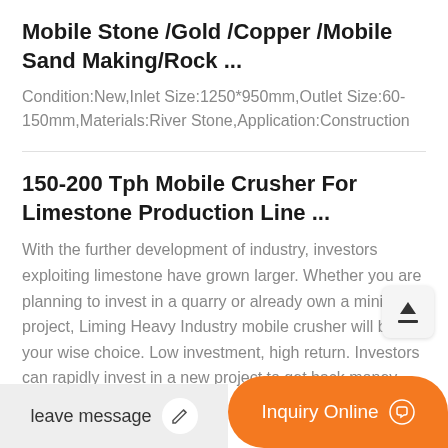Mobile Stone /Gold /Copper /Mobile Sand Making/Rock ...
Condition:New,Inlet Size:1250*950mm,Outlet Size:60-150mm,Materials:River Stone,Application:Construction
150-200 Tph Mobile Crusher For Limestone Production Line ...
With the further development of industry, investors exploiting limestone have grown larger. Whether you are planning to invest in a quarry or already own a mining project, Liming Heavy Industry mobile crusher will be your wise choice. Low investment, high return. Investors can rapidly invest in a new project to get back money. This is
leave message
Inquiry Online